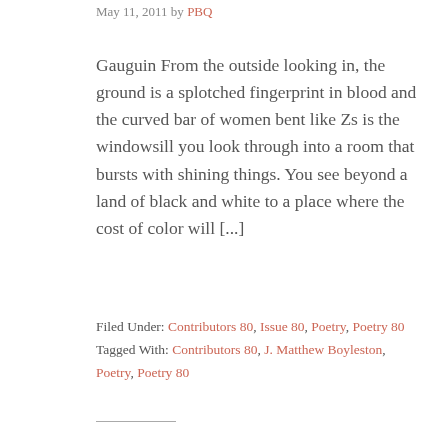May 11, 2011 by PBQ
Gauguin From the outside looking in, the ground is a splotched fingerprint in blood and the curved bar of women bent like Zs is the windowsill you look through into a room that bursts with shining things. You see beyond a land of black and white to a place where the cost of color will [...]
Filed Under: Contributors 80, Issue 80, Poetry, Poetry 80
Tagged With: Contributors 80, J. Matthew Boyleston, Poetry, Poetry 80